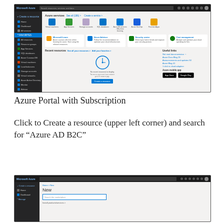[Figure (screenshot): Microsoft Azure Portal dashboard showing Azure services icons, recent resources panel with clock graphic, Useful Links section, and Azure mobile app store buttons]
Azure Portal with Subscription
Click to Create a resource (upper left corner) and search for “Azure AD B2C”
[Figure (screenshot): Microsoft Azure Portal showing New resource creation panel with search box]